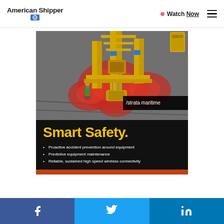American Shipper | Watch Now
[Figure (screenshot): Advertisement for /strata maritime showing an aerial view of a yellow port crane with red safety zone overlays around it, a worker in green vest visible below, with 'Smart Safety.' headline and bullet points on black background]
Proactive accident prevention around equipment
Predictive equipment maintenance
Reliable, sustained high speed wireless connectivity
Facebook | Twitter | LinkedIn